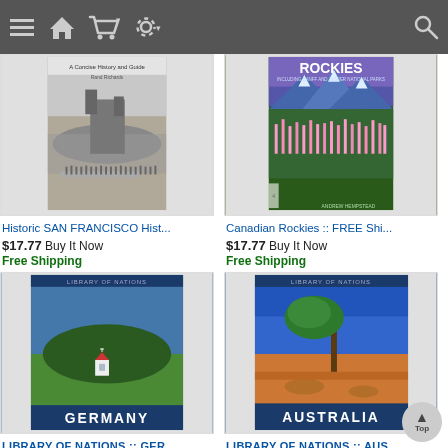Navigation bar with menu, home, cart, settings, and search icons
[Figure (screenshot): Book cover: Historic SAN FRANCISCO - A Concise History and Guide by Rand Richards, showing historic coastal scene with castle-like building]
Historic SAN FRANCISCO Hist...
$17.77  Buy It Now
Free Shipping
[Figure (screenshot): Book cover: Canadian Rockies with mountain scenery and wildflowers]
Canadian Rockies :: FREE Shi...
$17.77  Buy It Now
Free Shipping
[Figure (screenshot): Book cover: Library of Nations - Germany, showing green fields, forest, and small chapel]
LIBRARY OF NATIONS :: GER...
[Figure (screenshot): Book cover: Library of Nations - Australia, showing a lone tree in red desert landscape]
LIBRARY OF NATIONS :: AUS...